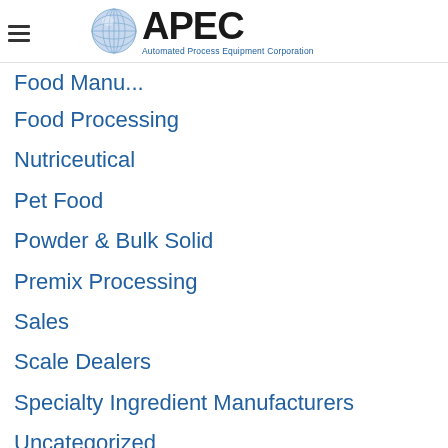[Figure (logo): APEC Automated Process Equipment Corporation logo with globe graphic and hamburger menu icon]
Food Manu...
Food Processing
Nutriceutical
Pet Food
Powder & Bulk Solid
Premix Processing
Sales
Scale Dealers
Specialty Ingredient Manufacturers
Uncategorized